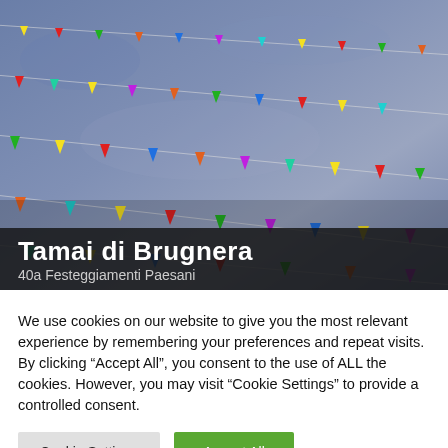[Figure (photo): Colorful triangular bunting flags strung on lines against a blue-grey sky]
Tamai di Brugnera
40a Festeggiamenti Paesani
We use cookies on our website to give you the most relevant experience by remembering your preferences and repeat visits. By clicking “Accept All”, you consent to the use of ALL the cookies. However, you may visit "Cookie Settings" to provide a controlled consent.